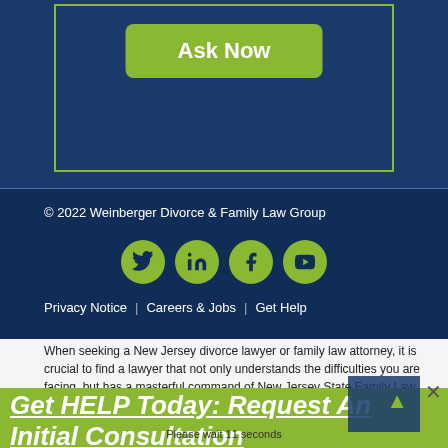[Figure (screenshot): Dark blue background section with a green-bordered box containing an 'Ask Now' green button]
© 2022 Weinberger Divorce & Family Law Group
[Figure (infographic): Social media icons: Twitter, LinkedIn, Facebook, YouTube — green circles with dark blue icons]
Privacy Notice  |  Careers & Jobs  |  Get Help
When seeking a New Jersey divorce lawyer or family law attorney, it is crucial to find a lawyer that not only understands the difficulties you are facing, but has a masterful command of New Jersey State Family Law. Our attorneys at Weinberger Divorce & Family Law
Get HELP Today: Request An Initial Consultation
Please wait 11 seconds